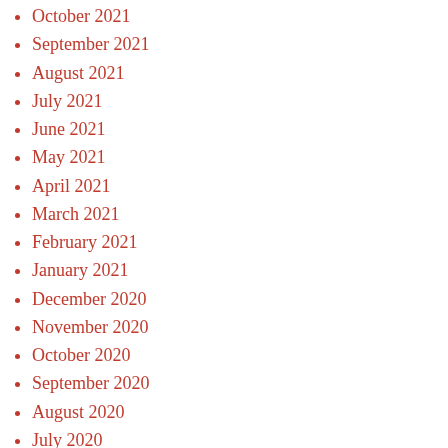October 2021
September 2021
August 2021
July 2021
June 2021
May 2021
April 2021
March 2021
February 2021
January 2021
December 2020
November 2020
October 2020
September 2020
August 2020
July 2020
June 2020
May 2020
April 2020
March 2020
February 2020
January 2020
December 2019
November 2019